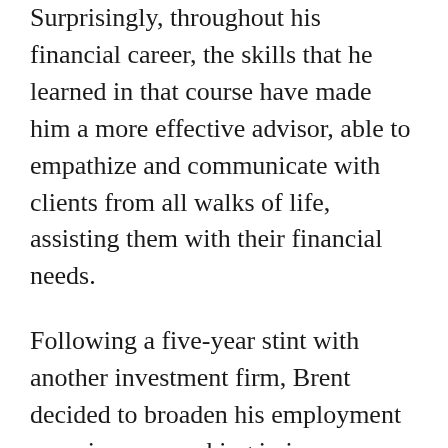Surprisingly, throughout his financial career, the skills that he learned in that course have made him a more effective advisor, able to empathize and communicate with clients from all walks of life, assisting them with their financial needs.
Following a five-year stint with another investment firm, Brent decided to broaden his employment experiences, working in insurance, property and casualty for only a single year. In his heart, Brent knew that his first love lay in helping people with their needs and returned to financial services as a financial advisor. He noted that “I really love finance and I love going to work every day.”
Brent is...